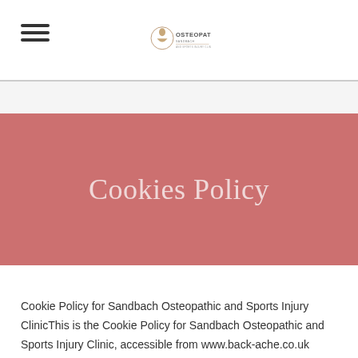Sandbach Osteopathic logo and navigation
Cookies Policy
Cookie Policy for Sandbach Osteopathic and Sports Injury ClinicThis is the Cookie Policy for Sandbach Osteopathic and Sports Injury Clinic, accessible from www.back-ache.co.uk